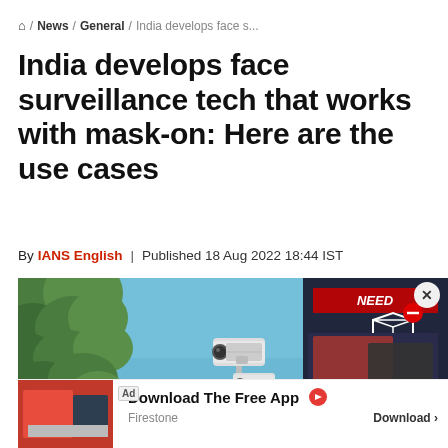⌂ / News / General / India develops face s...
India develops face surveillance tech that works with mask-on: Here are the use cases
By IANS English | Published 18 Aug 2022 18:44 IST
[Figure (photo): Two surveillance cameras mounted on poles against a blue sky, with green tree foliage visible on the left side. An advertisement overlay for a laptop product is visible on the right side showing price ₹1,33,889.99.]
Ad  Download The Free App  Firestone  Download >